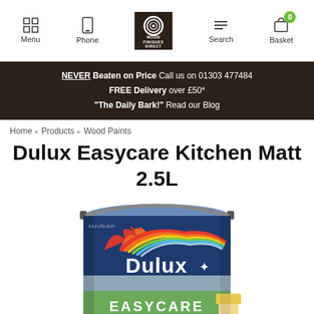Menu | Phone | Wood Finishes Direct (logo) | Search | Basket 0
NEVER Beaten on Price Call us on 01303 477484
FREE Delivery over £50*
"The Daily Bark!" Read our Blog
Home > Products > Wood Paints
Dulux Easycare Kitchen Matt 2.5L
[Figure (photo): Dulux Easycare Kitchen Matt paint tin, grey color, 2.5L, showing the Dulux logo, Easycare Kitchen branding, AkzoNobel logo, with a sponge and paint brush visible on the label.]